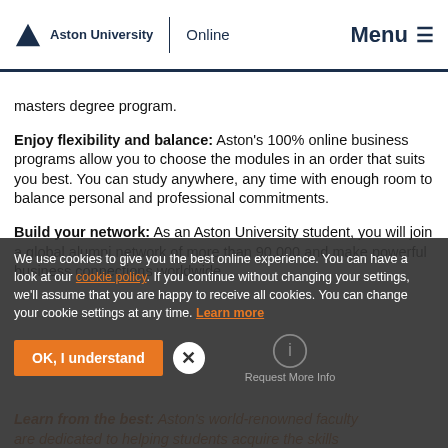Aston University Online | Menu
masters degree program.
Enjoy flexibility and balance: Aston's 100% online business programs allow you to choose the modules in an order that suits you best. You can study anywhere, any time with enough room to balance personal and professional commitments.
Build your network: As an Aston University student, you will join a global alumni network of more than 90,000 and make powerful business connections worldwide.
Learn from the best: Aston's world-renowned faculty are dedicated to helping students acquire the skills business.
We use cookies to give you the best online experience. You can have a look at our cookie policy. If you continue without changing your settings, we'll assume that you are happy to receive all cookies. You can change your cookie settings at any time. Learn more
OK, I understand | Request More Info